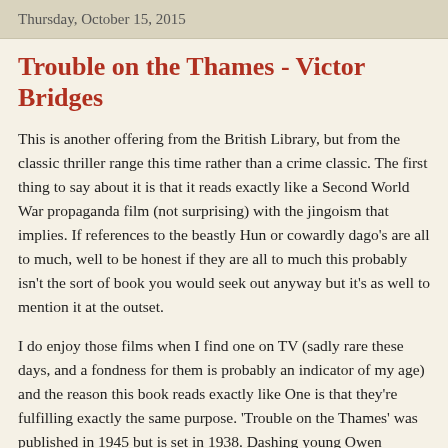Thursday, October 15, 2015
Trouble on the Thames - Victor Bridges
This is another offering from the British Library, but from the classic thriller range this time rather than a crime classic. The first thing to say about it is that it reads exactly like a Second World War propaganda film (not surprising) with the jingoism that implies. If references to the beastly Hun or cowardly dago's are all to much, well to be honest if they are all to much this probably isn't the sort of book you would seek out anyway but it's as well to mention it at the outset.
I do enjoy those films when I find one on TV (sadly rare these days, and a fondness for them is probably an indicator of my age) and the reason this book reads exactly like One is that they're fulfilling exactly the same purpose. 'Trouble on the Thames' was published in 1945 but is set in 1938. Dashing young Owen Bradwell (handsome navel officer) feels his world is coming to an end - on his way home from the South China sea, he had already accepted he was blind...